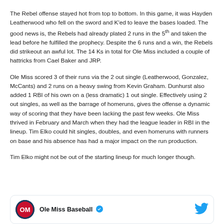The Rebel offense stayed hot from top to bottom. In this game, it was Hayden Leatherwood who fell on the sword and K'ed to leave the bases loaded. The good news is, the Rebels had already plated 2 runs in the 5th and taken the lead before he fulfilled the prophecy. Despite the 6 runs and a win, the Rebels did strikeout an awful lot. The 14 Ks in total for Ole Miss included a couple of hattricks from Cael Baker and JRP.
Ole Miss scored 3 of their runs via the 2 out single (Leatherwood, Gonzalez, McCants) and 2 runs on a heavy swing from Kevin Graham. Dunhurst also added 1 RBI of his own on a (less dramatic) 1 out single. Effectively using 2 out singles, as well as the barrage of homeruns, gives the offense a dynamic way of scoring that they have been lacking the past few weeks. Ole Miss thrived in February and March when they had the league leader in RBI in the lineup. Tim Elko could hit singles, doubles, and even homeruns with runners on base and his absence has had a major impact on the run production.
Tim Elko might not be out of the starting lineup for much longer though.
[Figure (other): Twitter/X card showing Ole Miss Baseball account with blue verified checkmark and Twitter bird logo]